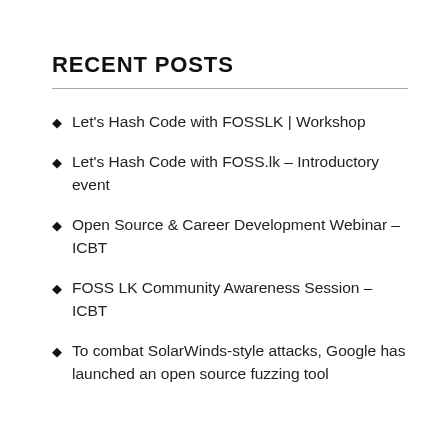RECENT POSTS
Let's Hash Code with FOSSLK | Workshop
Let's Hash Code with FOSS.lk – Introductory event
Open Source & Career Development Webinar – ICBT
FOSS LK Community Awareness Session – ICBT
To combat SolarWinds-style attacks, Google has launched an open source fuzzing tool